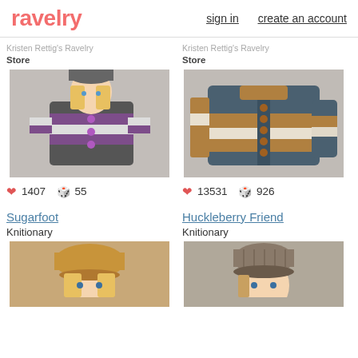ravelry | sign in | create an account
Kristen Rettig's Ravelry Store
[Figure (photo): Doll wearing knitted striped cardigan in grey, purple, and white with matching hat, posed against floral background]
❤ 1407 🧶 55
Kristen Rettig's Ravelry Store
[Figure (photo): Flat lay of knitted cardigan in grey, tan/mustard, and white stripes with buttons, on floral background]
❤ 13531 🧶 926
Sugarfoot
Knitionary
[Figure (photo): Doll wearing tan/caramel knitted beret hat, partially visible at bottom of page]
Huckleberry Friend
Knitionary
[Figure (photo): Doll wearing grey/brown knitted ribbed hat, partially visible at bottom of page]